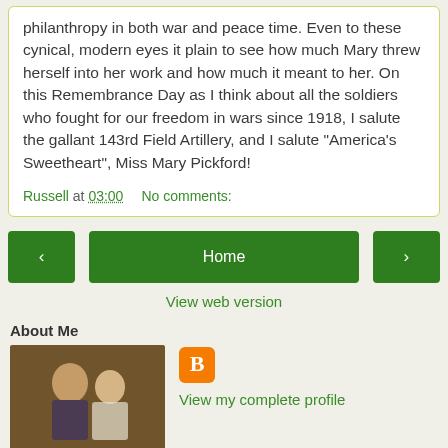philanthropy in both war and peace time. Even to these cynical, modern eyes it plain to see how much Mary threw herself into her work and how much it meant to her. On this Remembrance Day as I think about all the soldiers who fought for our freedom in wars since 1918, I salute the gallant 143rd Field Artillery, and I salute "America's Sweetheart", Miss Mary Pickford!
Russell at 03:00    No comments:
[Figure (screenshot): Navigation bar with back arrow button, Home button, and forward arrow button]
View web version
About Me
[Figure (photo): Profile photo thumbnail showing two people]
View my complete profile
Powered by Blogger.